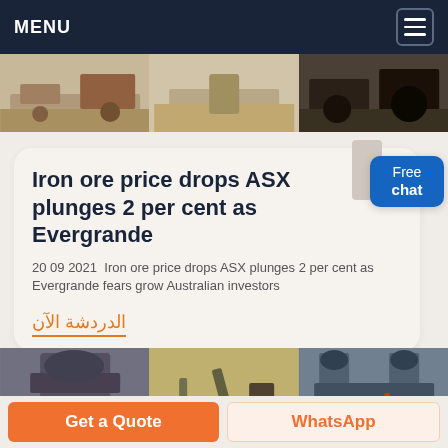MENU
[Figure (photo): Three horizontal photos of mining/crushing equipment and gravel]
Iron ore price drops ASX plunges 2 per cent as Evergrande
20 09 2021  Iron ore price drops ASX plunges 2 per cent as Evergrande fears grow Australian investors
الدردشة الآن
[Figure (photo): Three horizontal photos of industrial mining machinery]
Get a Quote
WhatsApp